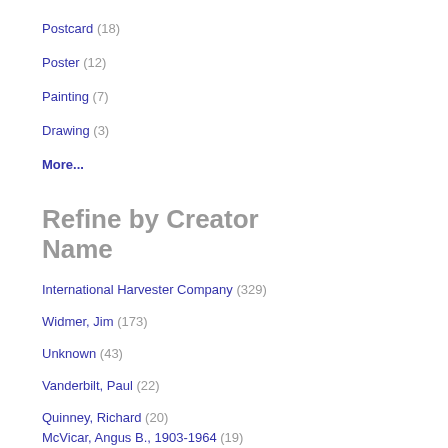Postcard (18)
Poster (12)
Painting (7)
Drawing (3)
More...
Refine by Creator Name
International Harvester Company (329)
Widmer, Jim (173)
Unknown (43)
Vanderbilt, Paul (22)
Quinney, Richard (20)
McVicar, Angus B., 1903-1964 (19)